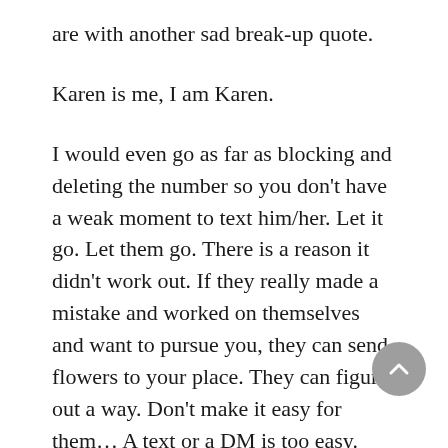are with another sad break-up quote.
Karen is me, I am Karen.
I would even go as far as blocking and deleting the number so you don't have a weak moment to text him/her. Let it go. Let them go. There is a reason it didn't work out. If they really made a mistake and worked on themselves and want to pursue you, they can send flowers to your place. They can figure out a way. Don't make it easy for them… A text or a DM is too easy.
I know this is really hard because it's kind of like the last goodbye and leaves no room for a potential late night "missing you" DM, but this will